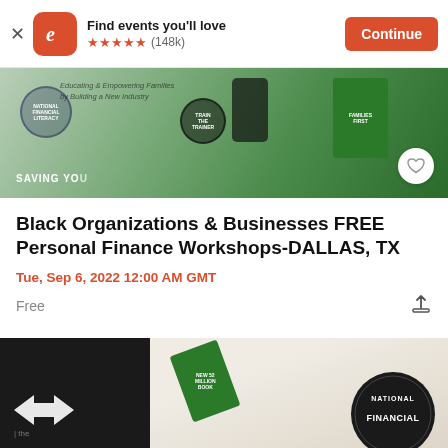Find events you'll love ★★★★★ (148k) Continue
[Figure (photo): Event banner image showing financial literacy materials, a phone, people, and text 'Educating & Empowering Families by Building a New Industry', 'SAVING YOUR', National Financial Literacy Campaign badges]
Black Organizations & Businesses FREE Personal Finance Workshops-DALLAS, TX
Tue, Sep 6, 2022 12:00 AM GMT
Free
[Figure (photo): Bottom event image showing coffee cup, green financial literacy book, arrows logo, and National Financial badge with text 'NATIONAL FINANCIAL']